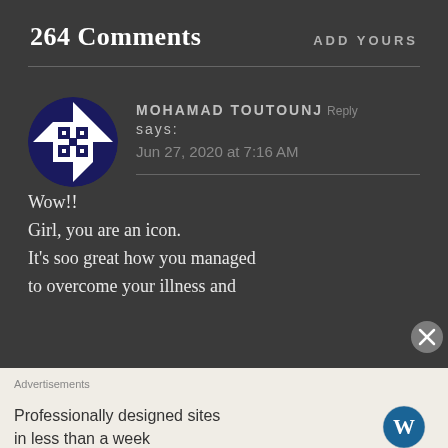264 Comments
ADD YOURS
MOHAMAD TOUTOUNJ Reply says:
Jun 27, 2020 at 7:16 AM
Wow!!
Girl, you are an icon.
It’s soo great how you managed to overcome your illness and
Advertisements
Professionally designed sites in less than a week